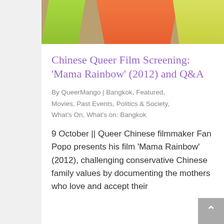[Figure (photo): Photo of people wearing colorful clothes (green, orange, yellow), partially cropped at top of article]
Chinese Queer Film Screening: ‘Mama Rainbow’ (2012) and Q&A
By QueerMango | Bangkok, Featured, Movies, Past Events, Politics & Society, What's On, What's on: Bangkok
9 October || Queer Chinese filmmaker Fan Popo presents his film ‘Mama Rainbow’ (2012), challenging conservative Chinese family values by documenting the mothers who love and accept their